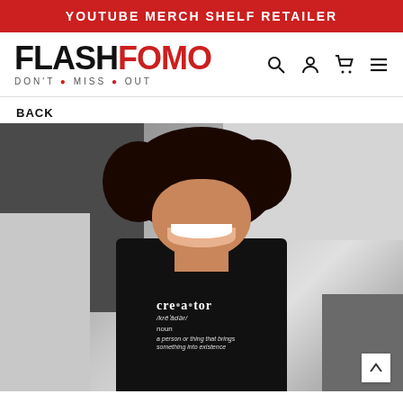YOUTUBE MERCH SHELF RETAILER
[Figure (logo): FlashFomo logo — FLASH in black bold, FOMO in red bold, tagline DON'T • MISS • OUT with red dots, navigation icons: search, account, cart, menu]
BACK
[Figure (photo): Woman with curly hair smiling, wearing a black hoodie with dictionary definition text: cre•a•tor /krēˈādər/ noun — a person or thing that brings something into existence. Background has dark grey and light grey geometric panels.]